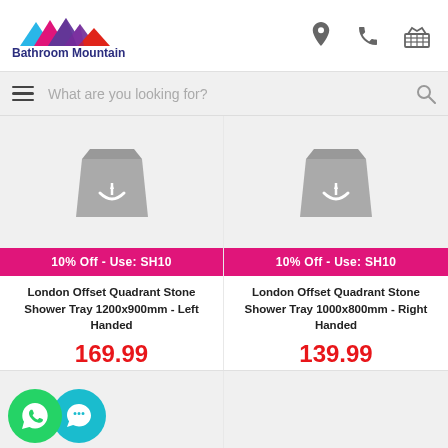[Figure (logo): Bathroom Mountain logo with colorful mountain peaks and brand name]
[Figure (infographic): Navigation icons: location pin, phone, shopping basket]
What are you looking for?
[Figure (photo): London Offset Quadrant Stone Shower Tray placeholder image]
10% Off - Use: SH10
London Offset Quadrant Stone Shower Tray 1200x900mm - Left Handed
169.99
[Figure (photo): London Offset Quadrant Stone Shower Tray placeholder image]
10% Off - Use: SH10
London Offset Quadrant Stone Shower Tray 1000x800mm - Right Handed
139.99
[Figure (infographic): WhatsApp and chat bubble icons in green/teal circles]